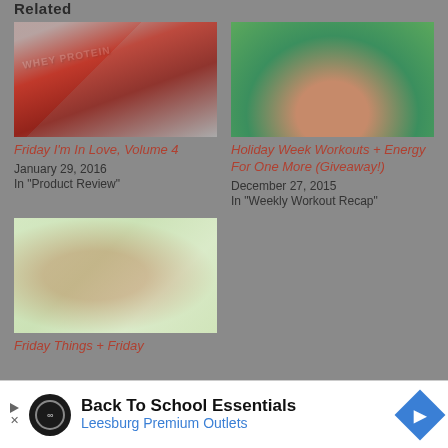Related
[Figure (photo): Whey protein containers/bags scattered on surface, red and white packaging]
Friday I'm In Love, Volume 4
January 29, 2016
In "Product Review"
[Figure (photo): Woman smiling outdoors wearing a blue tank top, green background]
Holiday Week Workouts + Energy For One More (Giveaway!)
December 27, 2015
In "Weekly Workout Recap"
[Figure (photo): Baby lying on colorful floral patterned fabric/clothing]
Friday Things + Friday
Back To School Essentials
Leesburg Premium Outlets